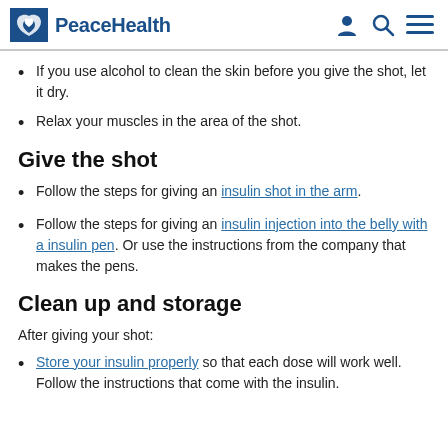PeaceHealth
If you use alcohol to clean the skin before you give the shot, let it dry.
Relax your muscles in the area of the shot.
Give the shot
Follow the steps for giving an insulin shot in the arm.
Follow the steps for giving an insulin injection into the belly with a insulin pen. Or use the instructions from the company that makes the pens.
Clean up and storage
After giving your shot:
Store your insulin properly so that each dose will work well. Follow the instructions that come with the insulin.